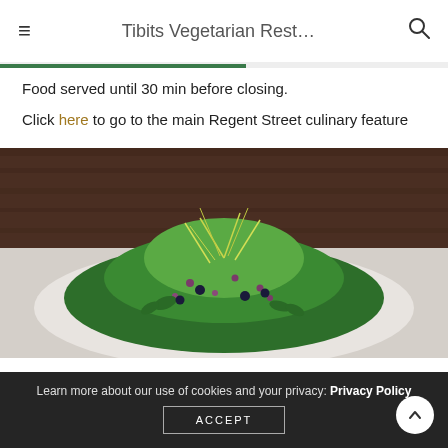Tibits Vegetarian Rest...
Food served until 30 min before closing.
Click here to go to the main Regent Street culinary feature
[Figure (photo): Close-up photo of a salad dish with mixed greens, microgreens, and purple sprouts on a white plate, with a dark wooden background.]
Learn more about our use of cookies and your privacy: Privacy Policy
ACCEPT